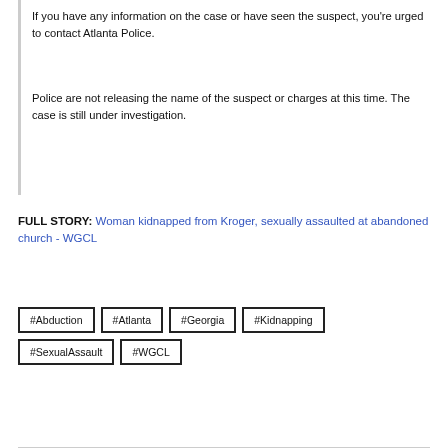If you have any information on the case or have seen the suspect, you're urged to contact Atlanta Police.
Police are not releasing the name of the suspect or charges at this time. The case is still under investigation.
FULL STORY: Woman kidnapped from Kroger, sexually assaulted at abandoned church - WGCL
#Abduction
#Atlanta
#Georgia
#Kidnapping
#SexualAssault
#WGCL